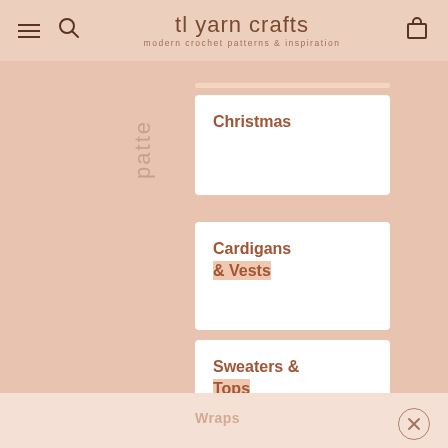tl yarn crafts — modern crochet patterns & inspiration
patte
Christmas
Cardigans & Vests
Sweaters & Tops
Shawls & Wraps